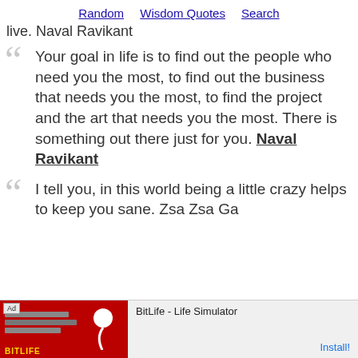Random  Wisdom Quotes  Search
live. Naval Ravikant
Your goal in life is to find out the people who need you the most, to find out the business that needs you the most, to find the project and the art that needs you the most. There is something out there just for you. Naval Ravikant
I tell you, in this world being a little crazy helps to keep you sane. Zsa Zsa Ga...
[Figure (screenshot): BitLife - Life Simulator advertisement banner with red background showing app icon and Install button]